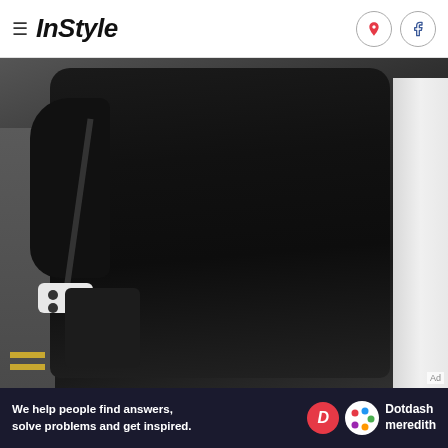InStyle
[Figure (photo): Woman wearing a black long-sleeve bodycon dress carrying a black handbag with white cuff detail, walking on a street]
Ad
[Figure (logo): Dotdash Meredith advertisement banner: 'We help people find answers, solve problems and get inspired.' with Dotdash Meredith logo]